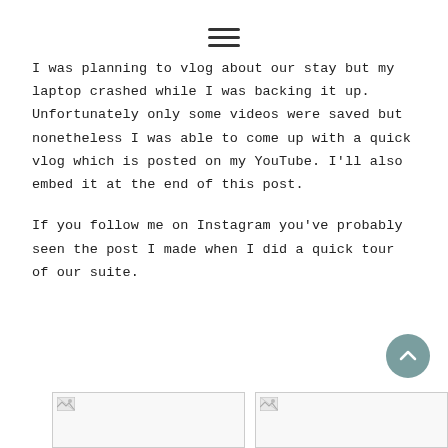hamburger menu icon
I was planning to vlog about our stay but my laptop crashed while I was backing it up. Unfortunately only some videos were saved but nonetheless I was able to come up with a quick vlog which is posted on my YouTube. I’ll also embed it at the end of this post.
If you follow me on Instagram you’ve probably seen the post I made when I did a quick tour of our suite.
[Figure (other): Two image placeholders at the bottom of the page, side by side, each showing a small broken/loading image icon in the top-left corner]